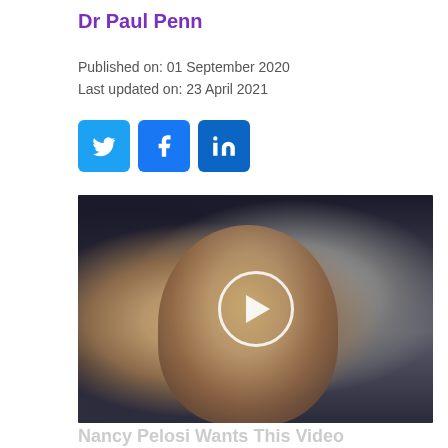Dr Paul Penn
Published on: 01 September 2020
Last updated on: 23 April 2021
[Figure (other): Social media share buttons: Twitter (blue bird icon), Facebook (blue f icon), LinkedIn (blue in icon)]
[Figure (photo): Photo of a woman with blonde hair smiling, surrounded by people in dark clothing. A video play button overlay (white circle with triangle) is centered on the image.]
Nancy Pelosi Wants This Video Destroyed — Watch Now Before It's Banned